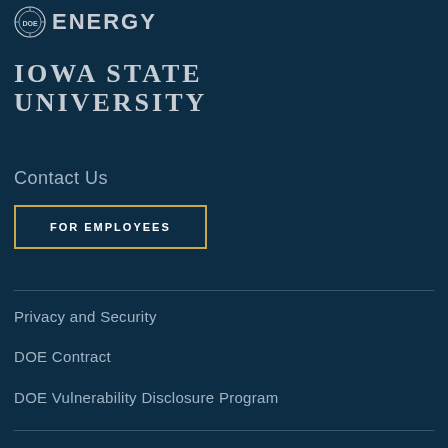[Figure (logo): U.S. Department of Energy logo with circular seal icon and ENERGY text]
[Figure (logo): Iowa State University wordmark in small-caps serif font]
Contact Us
FOR EMPLOYEES
Privacy and Security
DOE Contract
DOE Vulnerability Disclosure Program